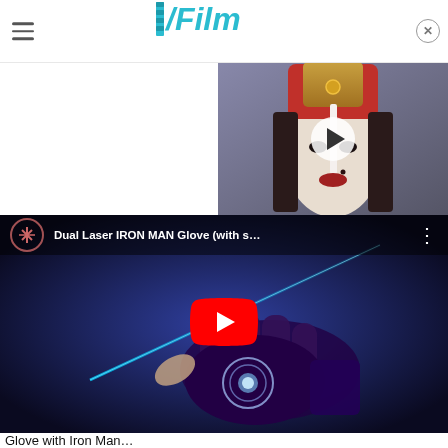/Film
[Figure (screenshot): Video thumbnail showing a character in Star Wars Padmé Amidala costume with a play button overlay]
[Figure (screenshot): YouTube video embed: Dual Laser IRON MAN Glove (with s... - showing a gloved hand with blue laser beam and red YouTube play button]
Glove with Iron Man...